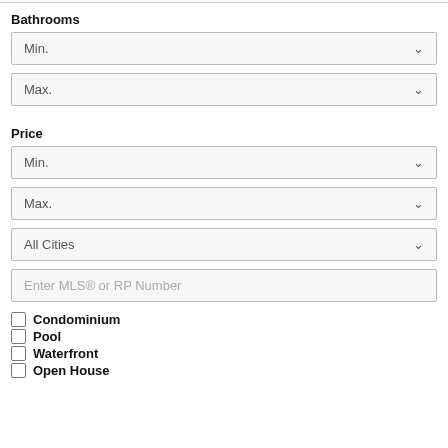Bathrooms
Min. (dropdown)
Max. (dropdown)
Price
Min. (dropdown)
Max. (dropdown)
All Cities (dropdown)
Enter MLS® or RP Number (input)
Condominium
Pool
Waterfront
Open House